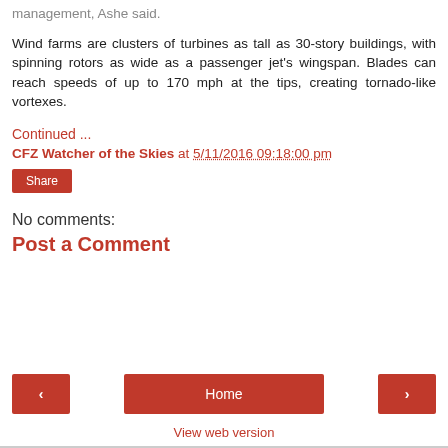how the permitting system fits within the agency's overall eagle management, Ashe said.
Wind farms are clusters of turbines as tall as 30-story buildings, with spinning rotors as wide as a passenger jet's wingspan. Blades can reach speeds of up to 170 mph at the tips, creating tornado-like vortexes.
Continued ...
CFZ Watcher of the Skies at 5/11/2016 09:18:00 pm
Share
No comments:
Post a Comment
Home
View web version